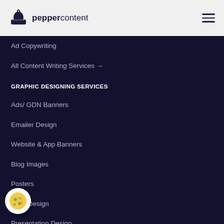peppercontent
Ad Copywriting
All Content Writing Services →
GRAPHIC DESIGNING SERVICES
Ads/ GDN Banners
Emailer Design
Website & App Banners
Blog Images
Posters
Logo Design
Presentation Design
Whitepaper Design